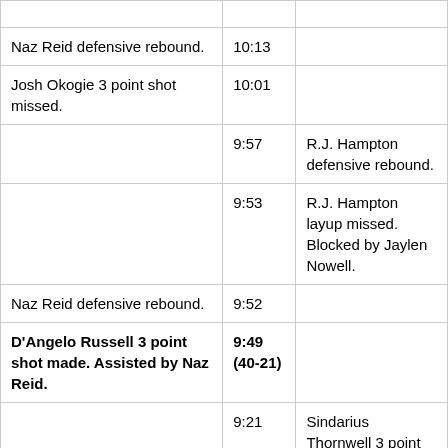| Home/Away Action | Time | Home/Away Action |
| --- | --- | --- |
|  |  |  |
| Naz Reid defensive rebound. | 10:13 |  |
| Josh Okogie 3 point shot missed. | 10:01 |  |
|  | 9:57 | R.J. Hampton defensive rebound. |
|  | 9:53 | R.J. Hampton layup missed. Blocked by Jaylen Nowell. |
| Naz Reid defensive rebound. | 9:52 |  |
| D'Angelo Russell 3 point shot made. Assisted by Naz Reid. | 9:49 (40-21) |  |
|  | 9:21 | Sindarius Thornwell 3 point shot missed. |
| Naz Reid defensive rebound. | 9:19 |  |
| D'Angelo Russell 3 point shot |  |  |